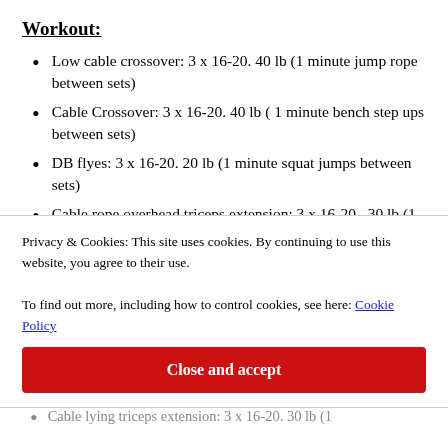Workout:
Low cable crossover: 3 x 16-20. 40 lb (1 minute jump rope between sets)
Cable Crossover: 3 x 16-20. 40 lb ( 1 minute bench step ups between sets)
DB flyes: 3 x 16-20. 20 lb (1 minute squat jumps between sets)
Cable rope overhead triceps extension: 3 x 16-20 , 30 lb (1 minute side to side shuffle between sets)
Cable lying triceps extension: 3 x 16-20. 30 lb (1
Privacy & Cookies: This site uses cookies. By continuing to use this website, you agree to their use.
To find out more, including how to control cookies, see here: Cookie Policy
Close and accept